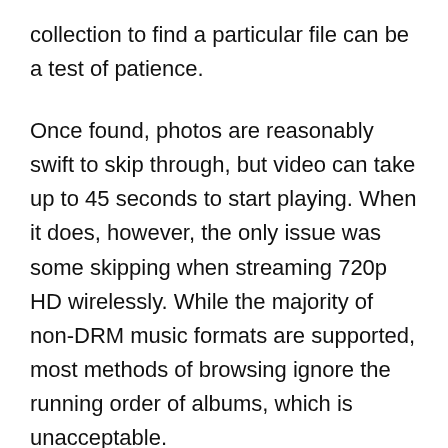collection to find a particular file can be a test of patience.
Once found, photos are reasonably swift to skip through, but video can take up to 45 seconds to start playing. When it does, however, the only issue was some skipping when streaming 720p HD wirelessly. While the majority of non-DRM music formats are supported, most methods of browsing ignore the running order of albums, which is unacceptable.